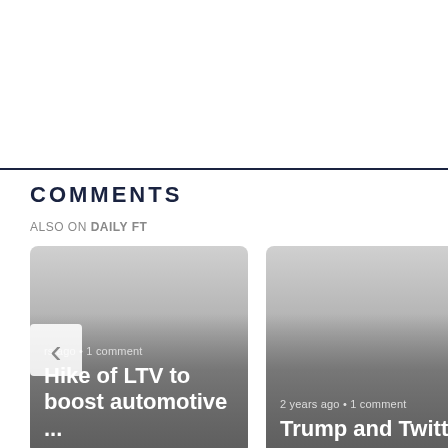COMMENTS
ALSO ON DAILY FT
[Figure (screenshot): Card showing article 'Hike of LTV to boost automotive ...' with metadata 'rs ago • 1 comment']
[Figure (screenshot): Card showing article 'Trump and Twitter' with metadata '2 years ago • 1 comment']